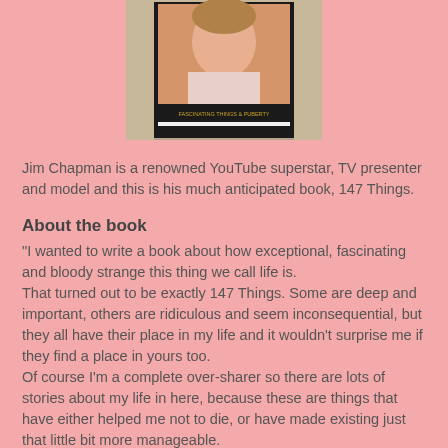[Figure (photo): Photo of a book cover featuring Jim Chapman, showing his face on the cover. Text on cover reads about fascinating things and puberty.]
Jim Chapman is a renowned YouTube superstar, TV presenter and model and this is his much anticipated book, 147 Things.
About the book
"I wanted to write a book about how exceptional, fascinating and bloody strange this thing we call life is.
That turned out to be exactly 147 Things. Some are deep and important, others are ridiculous and seem inconsequential, but they all have their place in my life and it wouldn't surprise me if they find a place in yours too.
Of course I'm a complete over-sharer so there are lots of stories about my life in here, because these are things that have either helped me not to die, or have made existing just that little bit more manageable.
This wonderful world can be pretty overwhelming at times -